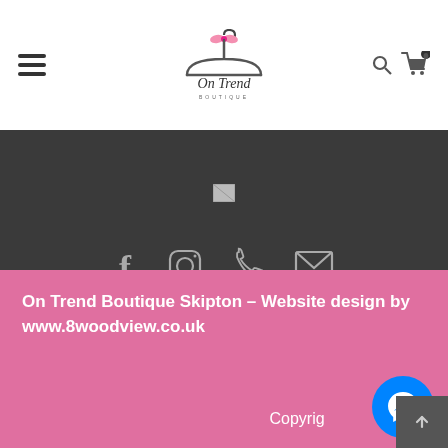[Figure (logo): On Trend Boutique logo with hanger and pink bow icon]
[Figure (screenshot): Dark section with broken image placeholder and social media icons: Facebook, Instagram, Phone, Email]
On Trend Boutique Skipton – Website design by www.8woodview.co.uk
Copyright